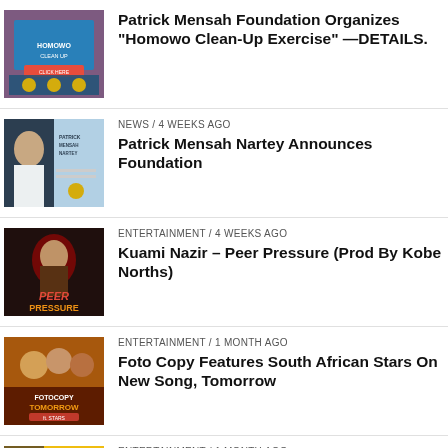Patrick Mensah Foundation Organizes "Homowo Clean-Up Exercise" —DETAILS.
NEWS / 4 weeks ago
Patrick Mensah Nartey Announces Foundation
ENTERTAINMENT / 4 weeks ago
Kuami Nazir – Peer Pressure (Prod By Kobe Norths)
ENTERTAINMENT / 1 month ago
Foto Copy Features South African Stars On New Song, Tomorrow
ENTERTAINMENT / 1 month ago
Sky Gee Revered The Face of Afrobeat In Eastern Region